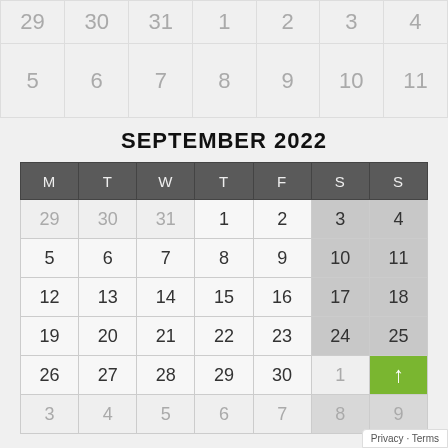[Figure (other): Partial calendar rows showing dates 29-4 and 5-11 at the top of the page]
SEPTEMBER 2022
| M | T | W | T | F | S | S |
| --- | --- | --- | --- | --- | --- | --- |
| 29 | 30 | 31 | 1 | 2 | 3 | 4 |
| 5 | 6 | 7 | 8 | 9 | 10 | 11 |
| 12 | 13 | 14 | 15 | 16 | 17 | 18 |
| 19 | 20 | 21 | 22 | 23 | 24 | 25 |
| 26 | 27 | 28 | 29 | 30 | 1 | ↑ |
| 3 | 4 | 5 | 6 | 7 | 8 | 9 |
Privacy · Terms